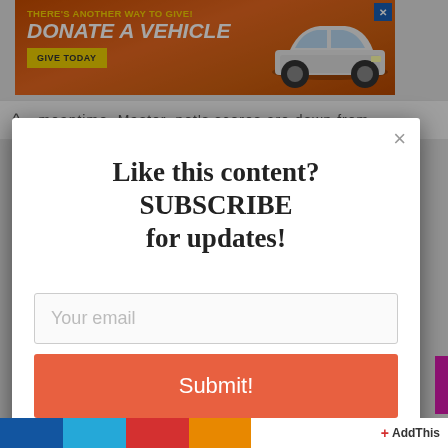[Figure (other): Orange banner advertisement: THERE'S ANOTHER WAY TO GIVE! DONATE A VEHICLE with GIVE TODAY button and car image]
meantime, Master, net's scores are down from
Like this content?
SUBSCRIBE
for updates!
Your email
Submit!
AddThis